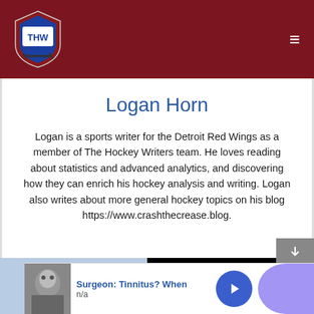[Figure (logo): The Hockey Writers (THW) shield logo in red, white, and blue on dark red header bar]
Logan Horn
Logan is a sports writer for the Detroit Red Wings as a member of The Hockey Writers team. He loves reading about statistics and advanced analytics, and discovering how they can enrich his hockey analysis and writing. Logan also writes about more general hockey topics on his blog https://www.crashthecrease.blog.
[Figure (photo): Hockey player wearing number 6 black jersey on ice rink, with article title '2022-2023 OHL Futures Watch – Flint Firebirds']
[Figure (infographic): Advertisement banner: Surgeon: Tinnitus? When with thumbnail photo of person and blue arrow button, subtext n/a]